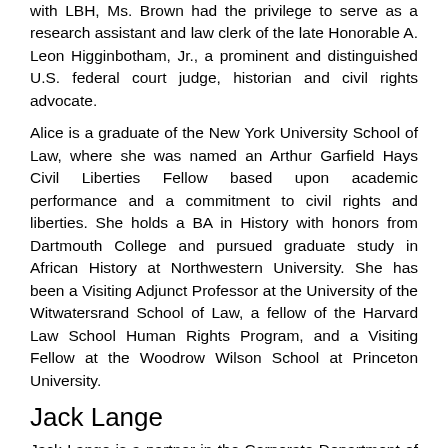with LBH, Ms. Brown had the privilege to serve as a research assistant and law clerk of the late Honorable A. Leon Higginbotham, Jr., a prominent and distinguished U.S. federal court judge, historian and civil rights advocate.
Alice is a graduate of the New York University School of Law, where she was named an Arthur Garfield Hays Civil Liberties Fellow based upon academic performance and a commitment to civil rights and liberties. She holds a BA in History with honors from Dartmouth College and pursued graduate study in African History at Northwestern University. She has been a Visiting Adjunct Professor at the University of the Witwatersrand School of Law, a fellow of the Harvard Law School Human Rights Program, and a Visiting Fellow at the Woodrow Wilson School at Princeton University.
Jack Lange
Jack Lange is a partner in the Corporate Department of Paul, Weiss, Rifkind, Wharton & Garrison LLP, based in Hong Kong. Jack's practice is concentrated principally on mergers and acquisitions with a particular focus on the representation of private equity and venture capital funds and other financial investors in connection with